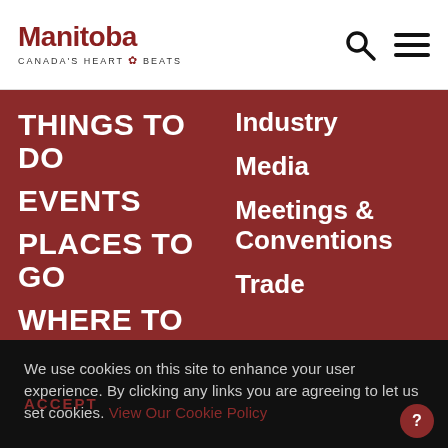[Figure (logo): Manitoba Canada's Heart Beats logo with maple leaf]
THINGS TO DO
EVENTS
PLACES TO GO
WHERE TO
Industry
Media
Meetings & Conventions
Trade
We use cookies on this site to enhance your user experience. By clicking any links you are agreeing to let us set cookies. View Our Cookie Policy
ACCEPT